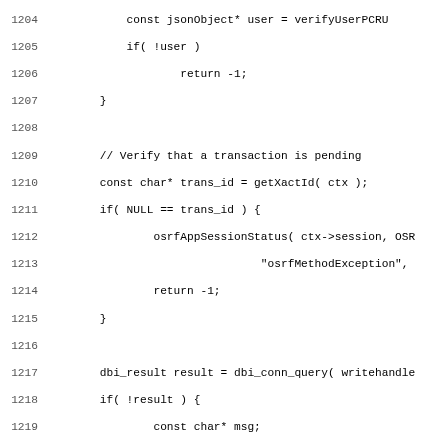[Figure (screenshot): Source code listing in C showing lines 1204-1235, including JSON object verification, transaction pending check, and database query with error handling logic.]